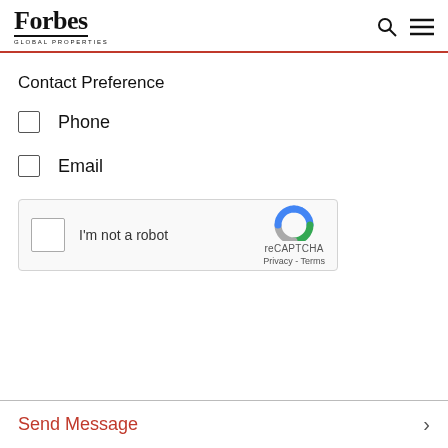Forbes Global Properties
Contact Preference
Phone
Email
[Figure (other): reCAPTCHA widget with checkbox labeled 'I'm not a robot' and Google reCAPTCHA logo with Privacy and Terms links]
Send Message